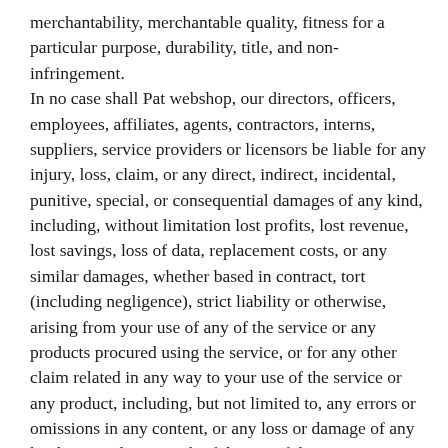merchantability, merchantable quality, fitness for a particular purpose, durability, title, and non-infringement. In no case shall Pat webshop, our directors, officers, employees, affiliates, agents, contractors, interns, suppliers, service providers or licensors be liable for any injury, loss, claim, or any direct, indirect, incidental, punitive, special, or consequential damages of any kind, including, without limitation lost profits, lost revenue, lost savings, loss of data, replacement costs, or any similar damages, whether based in contract, tort (including negligence), strict liability or otherwise, arising from your use of any of the service or any products procured using the service, or for any other claim related in any way to your use of the service or any product, including, but not limited to, any errors or omissions in any content, or any loss or damage of any kind incurred as a result of the use of the service or any content (or product) posted, transmitted, or otherwise made available via the service, even if advised of their possibility. Because some states or jurisdictions do not allow the exclusion or the limitation of liability for consequential or incidental damages, in such states or